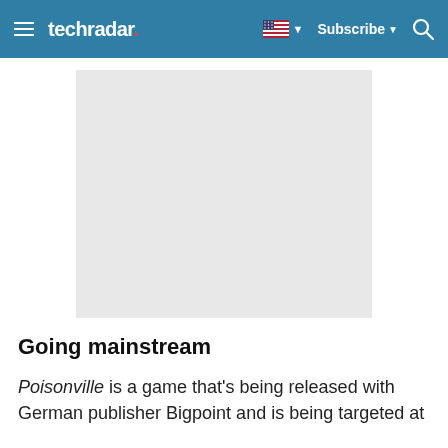techradar
[Figure (photo): Light gray placeholder image rectangle]
Going mainstream
Poisonville is a game that's being released with German publisher Bigpoint and is being targeted at